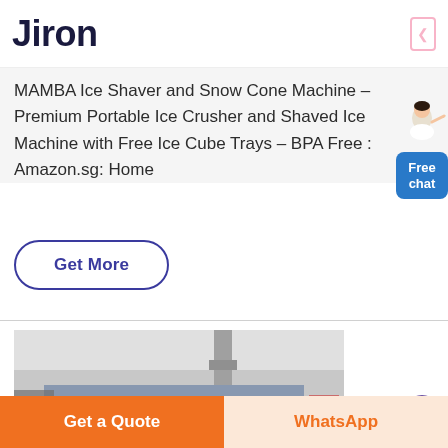Jiron
MAMBA Ice Shaver and Snow Cone Machine – Premium Portable Ice Crusher and Shaved Ice Machine with Free Ice Cube Trays – BPA Free : Amazon.sg: Home
[Figure (illustration): Free chat widget with woman figure and blue button labeled Free chat]
[Figure (other): Get More button with rounded border in dark blue/purple color]
[Figure (photo): Product photo showing XME branded industrial equipment in a warehouse setting]
[Figure (other): Purple circular button at bottom right]
Get a Quote
WhatsApp